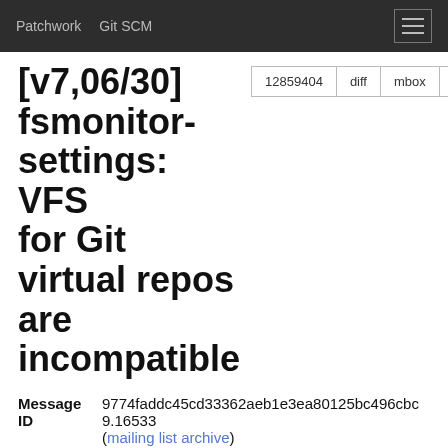Patchwork   Git SCM
[v7,06/30] fsmonitor-settings: VFS for Git virtual repos are incompatible
| Message ID | 9774faddc45cd33362aeb1e3ea80125bc496cbc9.16533… (mailing list archive) |
| State | Accepted |
| Commit | 5c58fbd26579391d825cb1ef0df8703bd6fd0ed5 |
| Headers | show |
| Series | Builtin FSMonitor Part 3 | expand |
Commit Message